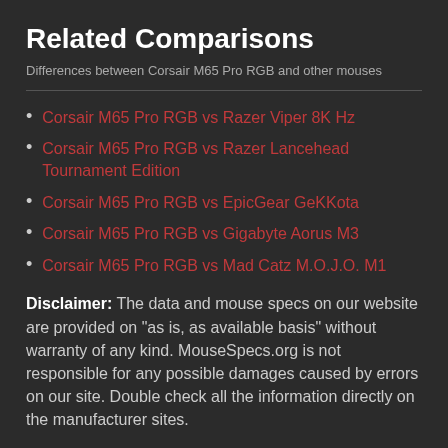Related Comparisons
Differences between Corsair M65 Pro RGB and other mouses
Corsair M65 Pro RGB vs Razer Viper 8K Hz
Corsair M65 Pro RGB vs Razer Lancehead Tournament Edition
Corsair M65 Pro RGB vs EpicGear GeKKota
Corsair M65 Pro RGB vs Gigabyte Aorus M3
Corsair M65 Pro RGB vs Mad Catz M.O.J.O. M1
Disclaimer: The data and mouse specs on our website are provided on "as is, as available basis" without warranty of any kind. MouseSpecs.org is not responsible for any possible damages caused by errors on our site. Double check all the information directly on the manufacturer sites.